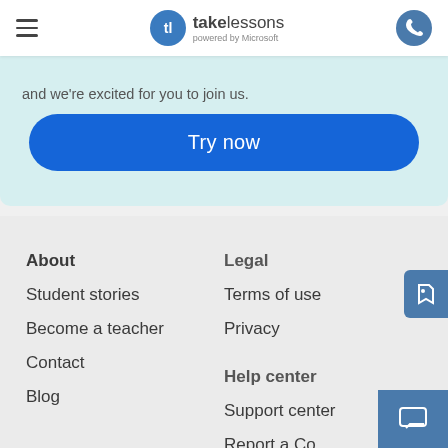takelessons powered by Microsoft
and we're excited for you to join us.
Try now
About
Student stories
Become a teacher
Contact
Blog
Legal
Terms of use
Privacy
Help center
Support center
Report a Co